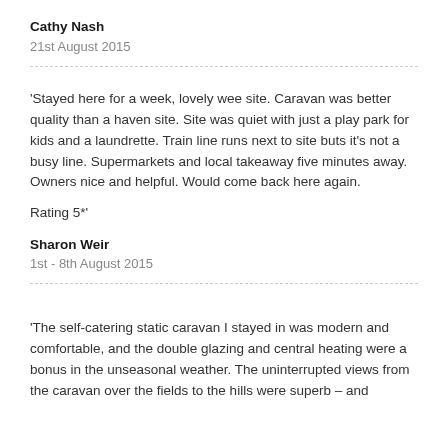Cathy Nash
21st August 2015
'Stayed here for a week, lovely wee site. Caravan was better quality than a haven site. Site was quiet with just a play park for kids and a laundrette. Train line runs next to site buts it's not a busy line. Supermarkets and local takeaway five minutes away. Owners nice and helpful. Would come back here again.
Rating 5*'
Sharon Weir
1st - 8th August 2015
'The self-catering static caravan I stayed in was modern and comfortable, and the double glazing and central heating were a bonus in the unseasonal weather. The uninterrupted views from the caravan over the fields to the hills were superb – and